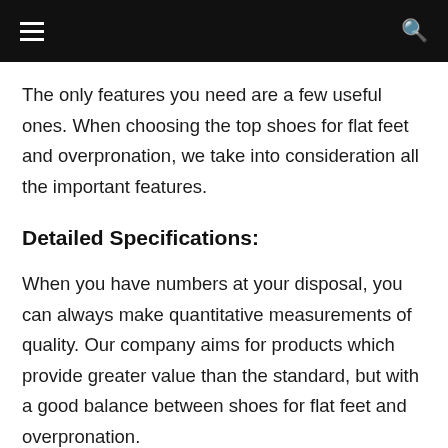navigation bar with hamburger menu and search icon
The only features you need are a few useful ones. When choosing the top shoes for flat feet and overpronation, we take into consideration all the important features.
Detailed Specifications:
When you have numbers at your disposal, you can always make quantitative measurements of quality. Our company aims for products which provide greater value than the standard, but with a good balance between shoes for flat feet and overpronation.